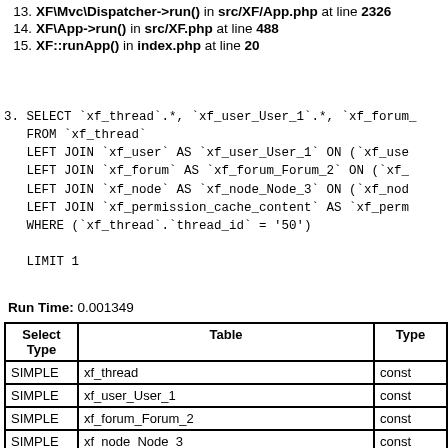13. XF\Mvc\Dispatcher->run() in src/XF/App.php at line 2326
14. XF\App->run() in src/XF.php at line 488
15. XF::runApp() in index.php at line 20
3. SELECT `xf_thread`.*, `xf_user_User_1`.*, `xf_forum_
FROM `xf_thread`
LEFT JOIN `xf_user` AS `xf_user_User_1` ON (`xf_user
LEFT JOIN `xf_forum` AS `xf_forum_Forum_2` ON (`xf_
LEFT JOIN `xf_node` AS `xf_node_Node_3` ON (`xf_node
LEFT JOIN `xf_permission_cache_content` AS `xf_perm
WHERE (`xf_thread`.`thread_id` = '50')

LIMIT 1
Run Time: 0.001349
| Select Type | Table | Type |
| --- | --- | --- |
| SIMPLE | xf_thread | const |
| SIMPLE | xf_user_User_1 | const |
| SIMPLE | xf_forum_Forum_2 | const |
| SIMPLE | xf_node_Node_3 | const |
| SIMPLE | xf_permission_cache_content_Permissions_4 | const |